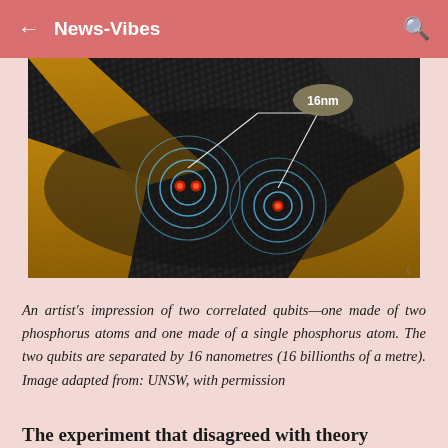← News-Vibes 🔍
[Figure (illustration): An artistic 3D rendering of two correlated qubits on a silicon surface—one qubit made of two phosphorus atoms and one made of a single phosphorus atom. The atoms are shown as red spheres with circular wave ripples around them on a dark textured substrate with gold/metallic strips. A callout label reads '16nm' indicating the separation between the two qubits.]
An artist's impression of two correlated qubits—one made of two phosphorus atoms and one made of a single phosphorus atom. The two qubits are separated by 16 nanometres (16 billionths of a metre). Image adapted from: UNSW, with permission
The experiment that disagreed with theory